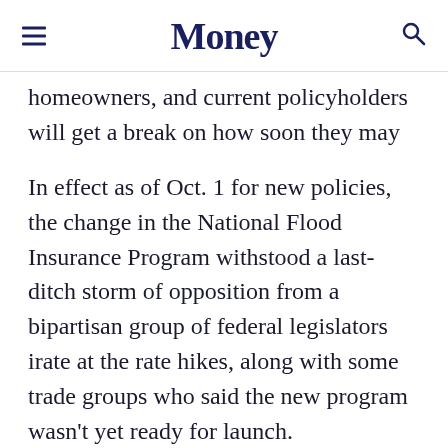Money
homeowners, and current policyholders will get a break on how soon they may have to pay higher premiums.
In effect as of Oct. 1 for new policies, the change in the National Flood Insurance Program withstood a last-ditch storm of opposition from a bipartisan group of federal legislators irate at the rate hikes, along with some trade groups who said the new program wasn't yet ready for launch.
FEMA stood firm. The agency acknowledges that more than three-quarters of the 5